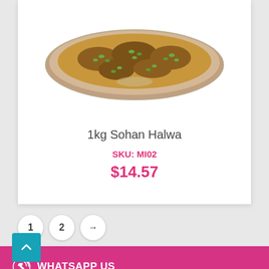[Figure (photo): Plate of Sohan Halwa sweet dish with nuts on top, viewed from above on a silver/metallic tray]
1kg Sohan Halwa
SKU: MI02
$14.57
1  2  →
WHATSAPP US
+92 322 7335 749